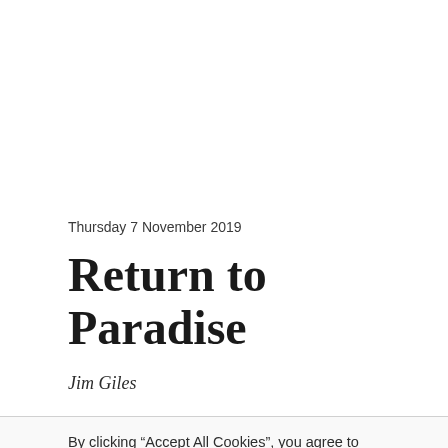Thursday 7 November 2019
Return to Paradise
Jim Giles
By clicking “Accept All Cookies”, you agree to the storing of cookies on your device to enhance site navigation, analyze site usage, and assist in our marketing efforts.